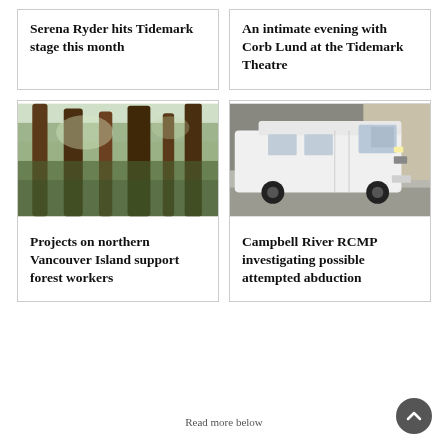Serena Ryder hits Tidemark stage this month
An intimate evening with Corb Lund at the Tidemark Theatre
[Figure (photo): Photo of tall trees in a forest on northern Vancouver Island, looking upward at conifer trunks against a light sky]
Projects on northern Vancouver Island support forest workers
[Figure (photo): Photo of a white Mercedes-Benz Sprinter van parked on a grey surface near a building]
Campbell River RCMP investigating possible attempted abduction
Read more below